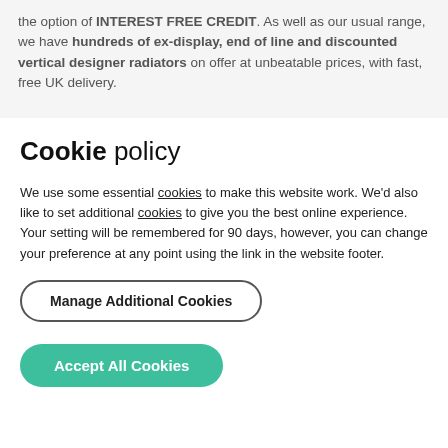the option of INTEREST FREE CREDIT. As well as our usual range, we have hundreds of ex-display, end of line and discounted vertical designer radiators on offer at unbeatable prices, with fast, free UK delivery.
Our full Designer Vertical Radiator range
Cookie policy
We use some essential cookies to make this website work. We'd also like to set additional cookies to give you the best online experience.
Your setting will be remembered for 90 days, however, you can change your preference at any point using the link in the website footer.
Manage Additional Cookies
Accept All Cookies